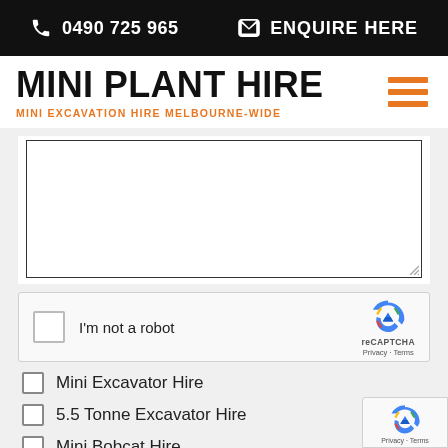📞 0490 725 965   ✉ ENQUIRE HERE
MINI PLANT HIRE
MINI EXCAVATION HIRE MELBOURNE-WIDE
[Figure (screenshot): Web form textarea input field, partially visible, with a resize handle in the bottom-right corner]
[Figure (screenshot): reCAPTCHA widget with checkbox, 'I'm not a robot' label, and reCAPTCHA logo with Privacy and Terms links]
Mini Excavator Hire
5.5 Tonne Excavator Hire
Mini Bobcat Hire